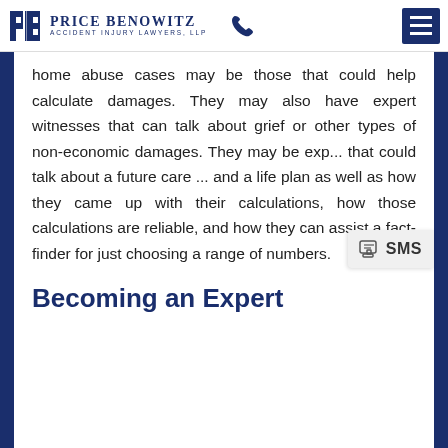Price Benowitz Accident Injury Lawyers, LLP
home abuse cases may be those that could help calculate damages. They may also have expert witnesses that can talk about grief or other types of non-economic damages. They may be exp... that could talk about a future care ... and a life plan as well as how they came up with their calculations, how those calculations are reliable, and how they can assist a fact-finder for just choosing a range of numbers.
Becoming an Expert